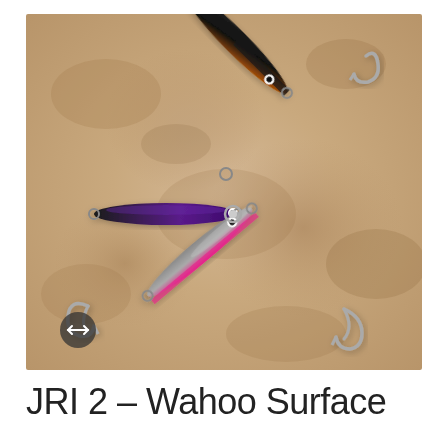[Figure (photo): Three fishing lures arranged on a beige/tan stone surface. One lure is black and purple with a treble hook on the left, one is black and orange angled upper-right with a treble hook, and one is silver and pink/magenta pointing lower-right with a treble hook. A small circular expand icon is visible in the lower-left of the image.]
JRI 2 – Wahoo Surface